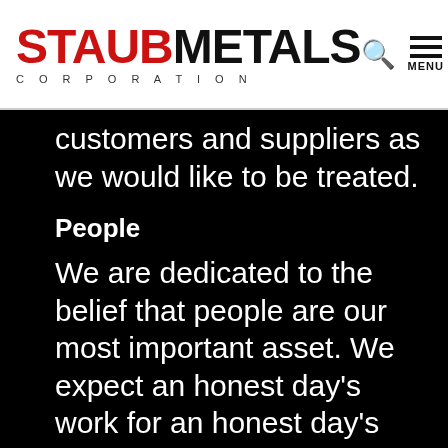STAUB METALS CORPORATION
customers and suppliers as we would like to be treated.
People
We are dedicated to the belief that people are our most important asset. We expect an honest day’s work for an honest day’s pay. We